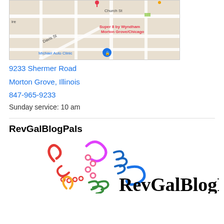[Figure (map): Google Maps screenshot showing the area around 9233 Shermer Road, Morton Grove, Illinois. Labels visible include Church St, Davis St, Super 8 by Wyndham Morton Grove/Chicago (in red/pink), Michael Auto Clinic (in blue), and a location pin marker.]
9233 Shermer Road
Morton Grove, Illinois
847-965-9233
Sunday service: 10 am
RevGalBlogPals
[Figure (logo): RevGalBlogPals logo featuring colorful swirling figures/people in red, magenta, pink, blue, green, yellow colors with the text RevGalBlogPals in black serif font]